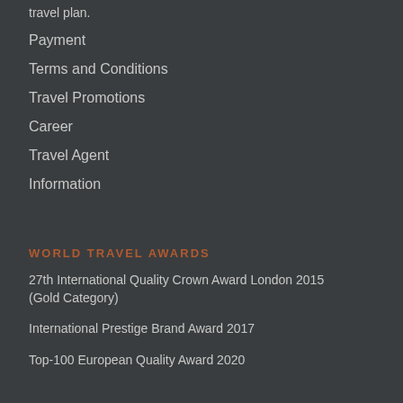travel plan.
Payment
Terms and Conditions
Travel Promotions
Career
Travel Agent
Information
WORLD TRAVEL AWARDS
27th International Quality Crown Award London 2015 (Gold Category)
International Prestige Brand Award 2017
Top-100 European Quality Award 2020